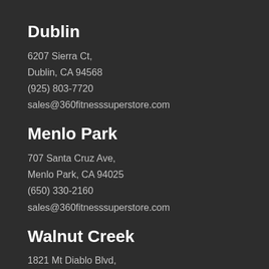Dublin
6207 Sierra Ct,
Dublin, CA 94568
(925) 803-7720
sales@360fitnesssuperstore.com
Menlo Park
707 Santa Cruz Ave,
Menlo Park, CA 94025
(650) 330-2160
sales@360fitnesssuperstore.com
Walnut Creek
1821 Mt Diablo Blvd,
Walnut Creek, CA 94596
(925) 933-0100
sales@360fitnesssuperstore.com